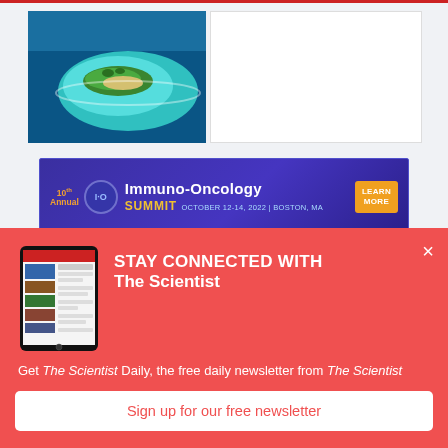[Figure (photo): Aerial view of a tropical island with turquoise water, partially visible at top left of page]
[Figure (infographic): 10th Annual Immuno-Oncology Summit advertisement banner — purple/blue background, orange LEARN MORE button, text: Immuno-Oncology SUMMIT OCTOBER 12-14, 2022 | BOSTON, MA]
ADVERTISEMENT
[Figure (screenshot): Tablet device showing The Scientist Daily website interface]
STAY CONNECTED WITH The Scientist
Get The Scientist Daily, the free daily newsletter from The Scientist
Sign up for our free newsletter